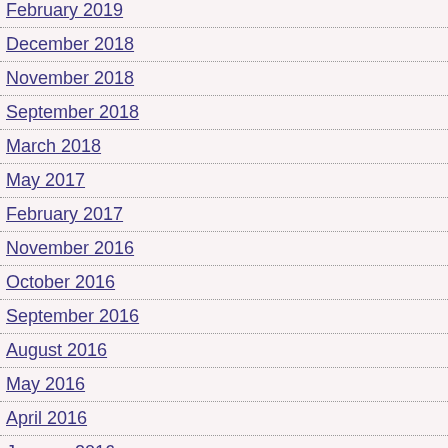February 2019
December 2018
November 2018
September 2018
March 2018
May 2017
February 2017
November 2016
October 2016
September 2016
August 2016
May 2016
April 2016
January 2016